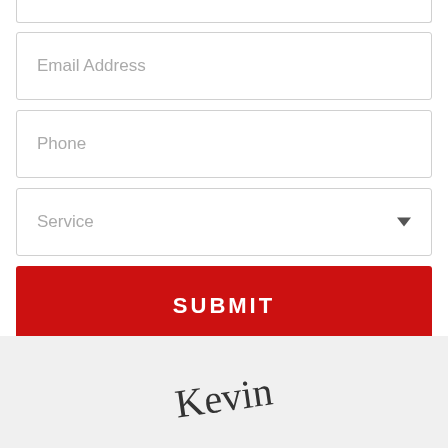[Figure (screenshot): Web form with Email Address text field, Phone text field, Service dropdown selector, a red SUBMIT button, and a partial signature area at the bottom with cursive text 'Kevin']
Email Address
Phone
Service
SUBMIT
[Figure (illustration): Cursive signature reading 'Kevin' on a light gray background]